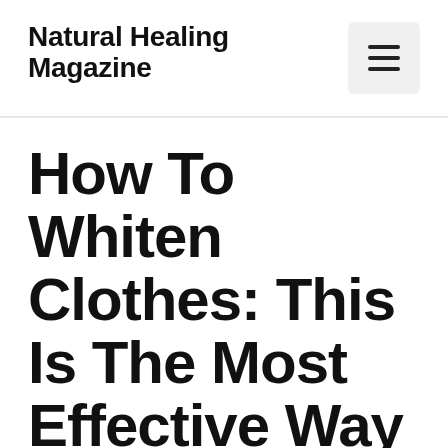Natural Healing Magazine
How To Whiten Clothes: This Is The Most Effective Way To Get The White Clothes Whit…